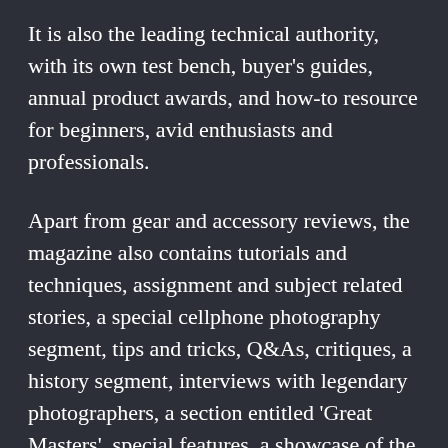It is also the leading technical authority, with its own test bench, buyer's guides, annual product awards, and how-to resource for beginners, avid enthusiasts and professionals.
Apart from gear and accessory reviews, the magazine also contains tutorials and techniques, assignment and subject related stories, a special cellphone photography segment, tips and tricks, Q&As, critiques, a history segment, interviews with legendary photographers, a section entitled 'Great Masters', special features, a showcase of the best images from the mainstream media and readers' galleries.